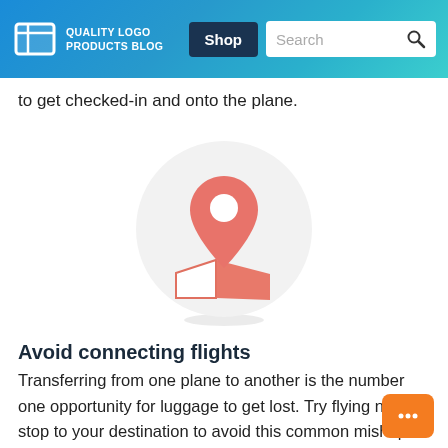QUALITY LOGO PRODUCTS BLOG | Shop | Search
to get checked-in and onto the plane.
[Figure (illustration): A red/coral map pin icon with a small white circle hole, placed above a stylized open map, all inside a light gray circle background.]
Avoid connecting flights
Transferring from one plane to another is the number one opportunity for luggage to get lost. Try flying non-stop to your destination to avoid this common mishap.